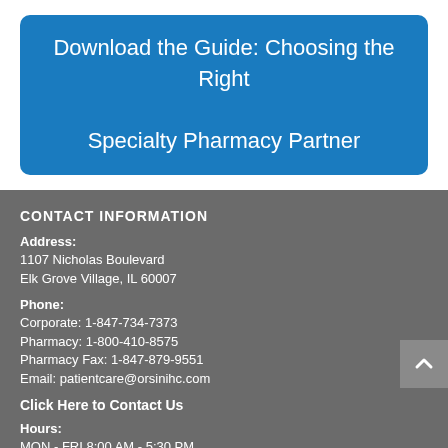Download the Guide: Choosing the Right Specialty Pharmacy Partner
CONTACT INFORMATION
Address:
1107 Nicholas Boulevard
Elk Grove Village, IL 60007
Phone:
Corporate:  1-847-734-7373
Pharmacy:  1-800-410-8575
Pharmacy Fax: 1-847-879-9551
Email: patientcare@orsinihc.com
Click Here to Contact Us
Hours:
MON - FRI 8:00 AM - 5:30 PM